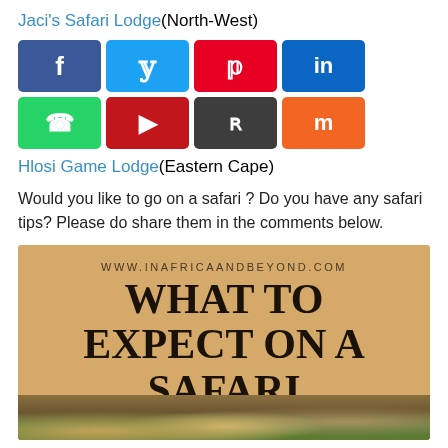Jaci's Safari Lodge(North-West)
[Figure (infographic): Social media share buttons: Facebook (blue), Twitter (light blue), Pinterest (red), LinkedIn (blue), WhatsApp (green), Flipboard (dark red), Reddit (dark gray), Mix (orange)]
Hlosi Game Lodge(Eastern Cape)
Would you like to go on a safari ? Do you have any safari tips? Please do share them in the comments below.
[Figure (infographic): Promotional image with tan/gold background. URL: WWW.INAFRICAANDBEYOND.COM. Title text: WHAT TO EXPECT ON A SAFARI. Bottom strip shows a nature/wildlife photo.]